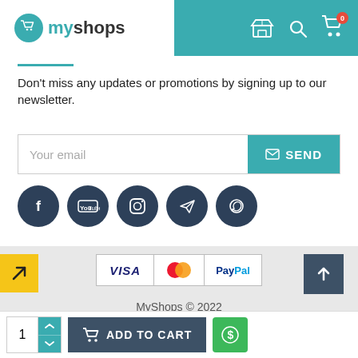[Figure (logo): myShops logo with teal cart icon and navigation icons in teal header bar]
Don't miss any updates or promotions by signing up to our newsletter.
[Figure (other): Email newsletter signup form with 'Your email' placeholder and teal SEND button]
[Figure (other): Social media icons: Facebook, YouTube, Instagram, Telegram, WhatsApp]
[Figure (other): Payment method icons: VISA, Mastercard, PayPal with scroll-to-top button]
MyShops © 2022
[Figure (other): Bottom bar with quantity selector, ADD TO CART button, and green dollar button]